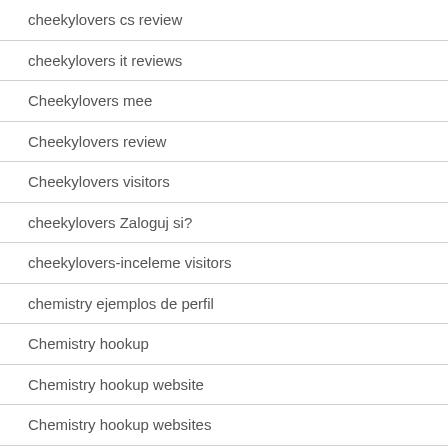cheekylovers cs review
cheekylovers it reviews
Cheekylovers mee
Cheekylovers review
Cheekylovers visitors
cheekylovers Zaloguj si?
cheekylovers-inceleme visitors
chemistry ejemplos de perfil
Chemistry hookup
Chemistry hookup website
Chemistry hookup websites